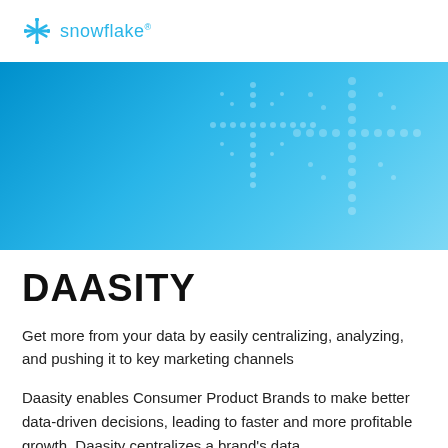snowflake
[Figure (illustration): Blue gradient banner with dot pattern overlay, representing Snowflake partner branding header]
DAASITY
Get more from your data by easily centralizing, analyzing, and pushing it to key marketing channels
Daasity enables Consumer Product Brands to make better data-driven decisions, leading to faster and more profitable growth. Daasity centralizes a brand's data